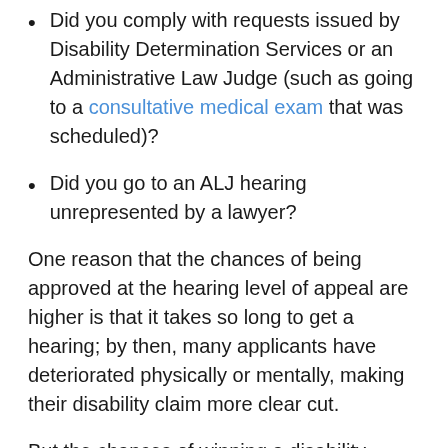Did you comply with requests issued by Disability Determination Services or an Administrative Law Judge (such as going to a consultative medical exam that was scheduled)?
Did you go to an ALJ hearing unrepresented by a lawyer?
One reason that the chances of being approved at the hearing level of appeal are higher is that it takes so long to get a hearing; by then, many applicants have deteriorated physically or mentally, making their disability claim more clear cut.
But the chances of winning a disability appeal depend on so many factors that it's not possible to predict the outcome of your own hearing. A good way to improve your chances is to stay on top of